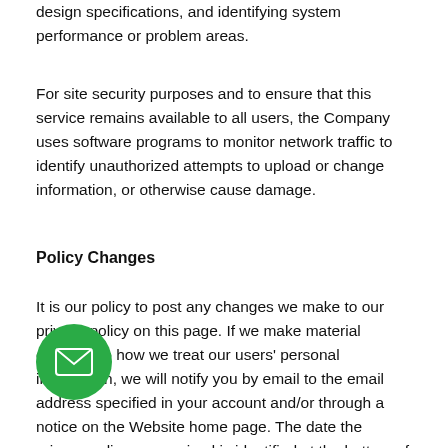design specifications, and identifying system performance or problem areas.
For site security purposes and to ensure that this service remains available to all users, the Company uses software programs to monitor network traffic to identify unauthorized attempts to upload or change information, or otherwise cause damage.
Policy Changes
It is our policy to post any changes we make to our privacy policy on this page. If we make material changes to how we treat our users' personal information, we will notify you by email to the email address specified in your account and/or through a notice on the Website home page. The date the privacy policy was revised is identified at the bottom of the page. You are responsible for ensuring we have an up-to-date active and deliverable email address for you, and for periodically visiting